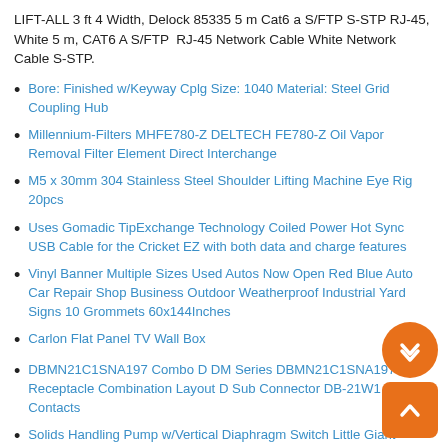LIFT-ALL 3 ft 4 Width, Delock 85335 5 m Cat6 a S/FTP S-STP RJ-45, White 5 m, CAT6 A S/FTP RJ-45 Network Cable White Network Cable S-STP.
Bore: Finished w/Keyway Cplg Size: 1040 Material: Steel Grid Coupling Hub
Millennium-Filters MHFE780-Z DELTECH FE780-Z Oil Vapor Removal Filter Element Direct Interchange
M5 x 30mm 304 Stainless Steel Shoulder Lifting Machine Eye Rig 20pcs
Uses Gomadic TipExchange Technology Coiled Power Hot Sync USB Cable for the Cricket EZ with both data and charge features
Vinyl Banner Multiple Sizes Used Autos Now Open Red Blue Auto Car Repair Shop Business Outdoor Weatherproof Industrial Yard Signs 10 Grommets 60x144Inches
Carlon Flat Panel TV Wall Box
DBMN21C1SNA197 Combo D DM Series DBMN21C1SNA197 Receptacle Combination Layout D Sub Connector DB-21W1 Contacts
Solids Handling Pump w/Vertical Diaphragm Switch Little Giant